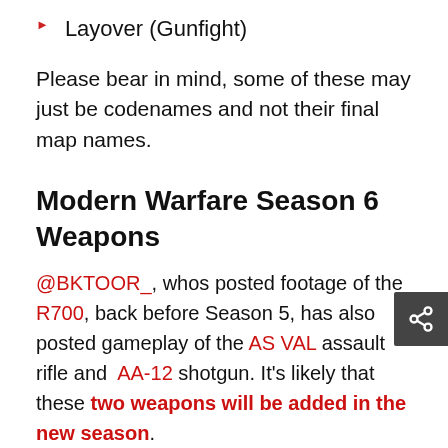Layover (Gunfight)
Please bear in mind, some of these may just be codenames and not their final map names.
Modern Warfare Season 6 Weapons
@BKTOOR_, whos posted footage of the R700, back before Season 5, has also posted gameplay of the AS VAL assault rifle and AA-12 shotgun. It's likely that these two weapons will be added in the new season.
@TheGamingRevo3 has speculated that the